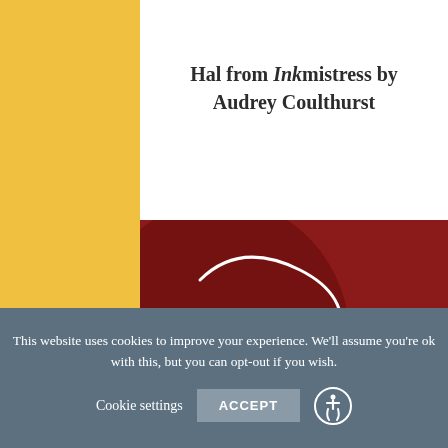Hal from Inkmistress by Audrey Coulthurst
[Figure (photo): Book cover of Inkmistress by Audrey Coulthurst, showing a dark red/crimson background with flowing white cursive script text 'itress' and the author name 'AUDREY COULTHURST, Author of OF FIRE AND STARS' in the upper right.]
This website uses cookies to improve your experience. We'll assume you're ok with this, but you can opt-out if you wish.
Cookie settings   ACCEPT